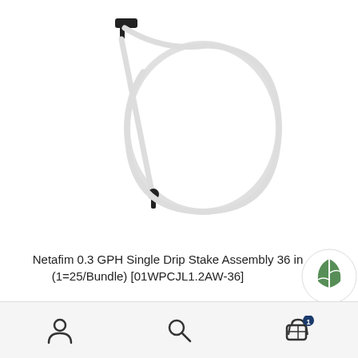[Figure (photo): Product photo of a Netafim drip stake assembly showing a white flexible tube formed into a loop with a black stake emitter at the bottom and a black barb fitting at the top]
Netafim 0.3 GPH Single Drip Stake Assembly 36 in (1=25/Bundle) [01WPCJL1.2AW-36]
SALE!
$69.70  $41.18